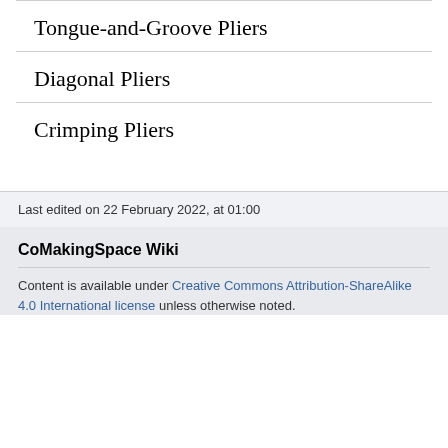Tongue-and-Groove Pliers
Diagonal Pliers
Crimping Pliers
Last edited on 22 February 2022, at 01:00
CoMakingSpace Wiki
Content is available under Creative Commons Attribution-ShareAlike 4.0 International license unless otherwise noted.